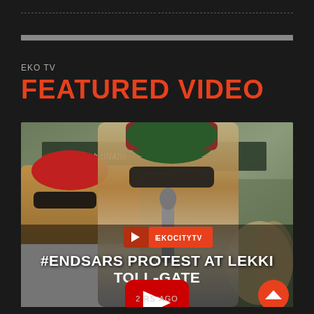EKO TV
FEATURED VIDEO
[Figure (screenshot): Video thumbnail showing two people at the #EndSARS protest at Lekki Toll-Gate, with EKOCITYTV branding, a YouTube play button overlay, and the text '#ENDSARS PROTEST AT LEKKI TOLL-GATE' with '2 YEARS AGO' timestamp.]